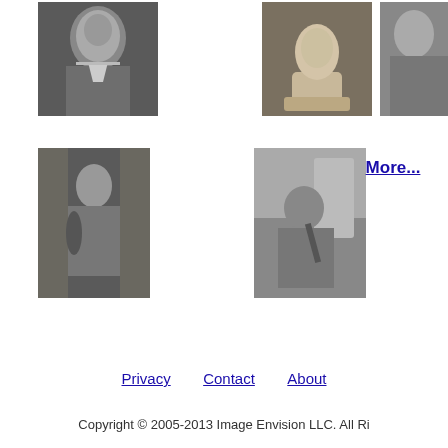[Figure (photo): Black and white portrait of a man (classical composer style)]
[Figure (photo): A white marble or plaster bust of a man]
[Figure (photo): Black and white photo of a woman, partially cropped at right edge]
[Figure (photo): Black and white photo of a man seated holding a violin]
[Figure (photo): Black and white photo of a man sitting outdoors playing violin]
More...
Privacy    Contact    About
Copyright © 2005-2013 Image Envision LLC. All Ri